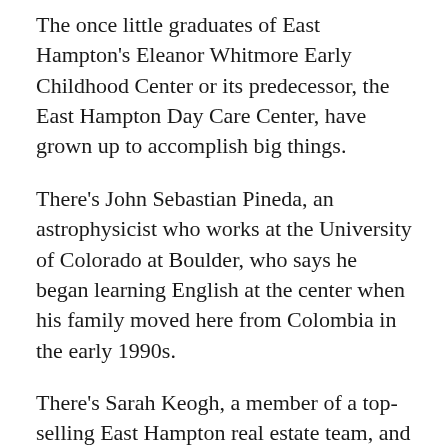The once little graduates of East Hampton's Eleanor Whitmore Early Childhood Center or its predecessor, the East Hampton Day Care Center, have grown up to accomplish big things.
There's John Sebastian Pineda, an astrophysicist who works at the University of Colorado at Boulder, who says he began learning English at the center when his family moved here from Colombia in the early 1990s.
There's Sarah Keogh, a member of a top-selling East Hampton real estate team, and Christin Aucapina, a Gates Millennium Scholar and Fulbright Fellow, and Janie Mae Westergard, a dancer with the Gelsey Kirkland Ballet Company in Brooklyn.